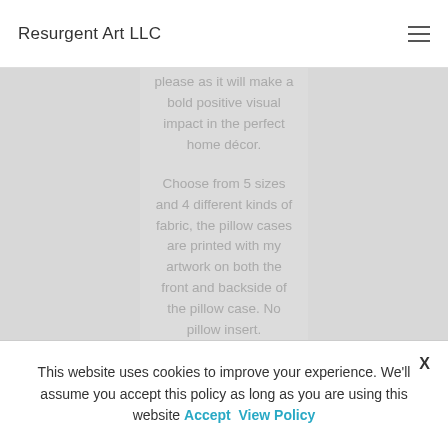Resurgent Art LLC
please as it will make a bold positive visual impact in the perfect home décor.

Choose from 5 sizes and 4 different kinds of fabric, the pillow cases are printed with my artwork on both the front and backside of the pillow case. No pillow insert.
This website uses cookies to improve your experience. We'll assume you accept this policy as long as you are using this website Accept View Policy